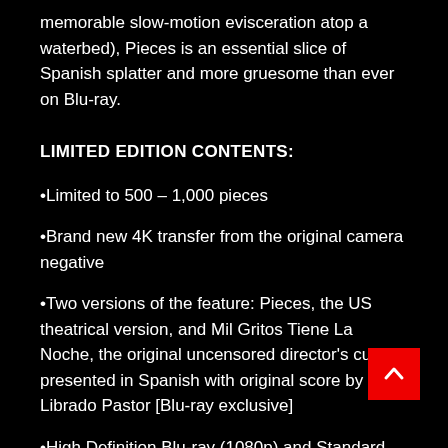memorable slow-motion evisceration atop a waterbed), Pieces is an essential slice of Spanish splatter and more gruesome than ever on Blu-ray.
LIMITED EDITION CONTENTS:
•Limited to 500 – 1,000 pieces
•Brand new 4K transfer from the original camera negative
•Two versions of the feature: Pieces, the US theatrical version, and Mil Gritos Tiene La Noche, the original uncensored director's cut, presented in Spanish with original score by Librado Pastor [Blu-ray exclusive]
•High Definition Blu-ray (1080p) and Standard Definition DVD presentations
•Original English and Spanish Mono Audio